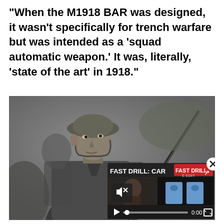“When the M1918 BAR was designed, it wasn't specifically for trench warfare but was intended as a ‘squad automatic weapon.’ It was, literally, ‘state of the art’ in 1918.”
[Figure (photo): Black and white photograph of a World War I era soldier in uniform with a helmet, holding a BAR rifle. In the bottom-right corner there is a video player overlay showing 'FAST DRILL: CAR...' with playback controls at 0:00.]